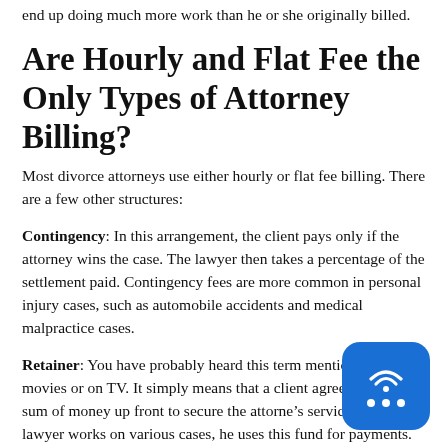end up doing much more work than he or she originally billed.
Are Hourly and Flat Fee the Only Types of Attorney Billing?
Most divorce attorneys use either hourly or flat fee billing. There are a few other structures:
Contingency: In this arrangement, the client pays only if the attorney wins the case. The lawyer then takes a percentage of the settlement paid. Contingency fees are more common in personal injury cases, such as automobile accidents and medical malpractice cases.
Retainer: You have probably heard this term mentioned in the movies or on TV. It simply means that a client agrees to pay a sum of money up front to secure the attorney’s services. As the lawyer works on various cases, he or she uses this fund for payments.
[Figure (illustration): A floating blue rounded-square icon showing a wifi/broadcast symbol above three dots, resembling a chat or live broadcast app icon.]